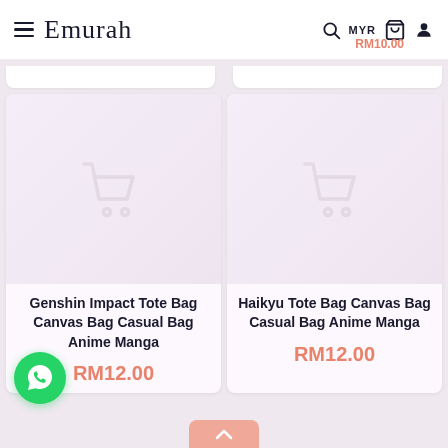Emurah — MYR RM10.00
[Figure (screenshot): Two product listing cards. Left: Genshin Impact Tote Bag Canvas Bag Casual Bag Anime Manga, RM12.00. Right: Haikyu Tote Bag Canvas Bag Casual Bag Anime Manga, RM12.00. Each card shows a placeholder shopping cart icon on a light pink background.]
Genshin Impact Tote Bag Canvas Bag Casual Bag Anime Manga
RM12.00
Haikyu Tote Bag Canvas Bag Casual Bag Anime Manga
RM12.00